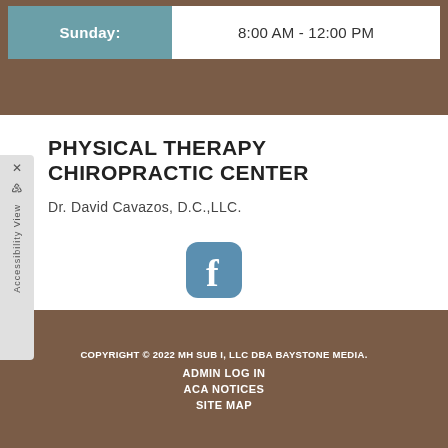| Day | Hours |
| --- | --- |
| Sunday: | 8:00 AM - 12:00 PM |
PHYSICAL THERAPY CHIROPRACTIC CENTER
Dr. David Cavazos, D.C.,LLC.
[Figure (logo): Facebook logo icon - blue rounded square with white letter f]
COPYRIGHT © 2022 MH SUB I, LLC DBA BAYSTONE MEDIA.
ADMIN LOG IN
ACA NOTICES
SITE MAP